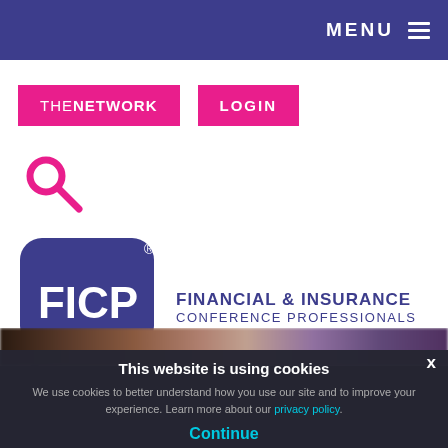MENU
THE NETWORK
LOGIN
[Figure (logo): Pink search icon (magnifying glass)]
[Figure (logo): FICP logo — Financial & Insurance Conference Professionals. Blue speech bubble with FICP text, alongside text 'FINANCIAL & INSURANCE CONFERENCE PROFESSIONALS']
[Figure (photo): Blurred crowd photo strip]
This website is using cookies
We use cookies to better understand how you use our site and to improve your experience. Learn more about our privacy policy.
Continue